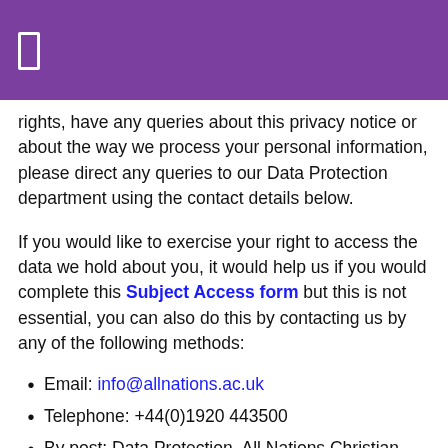rights, have any queries about this privacy notice or about the way we process your personal information, please direct any queries to our Data Protection department using the contact details below.
If you would like to exercise your right to access the data we hold about you, it would help us if you would complete this Subject Access form but this is not essential, you can also do this by contacting us by any of the following methods:
Email: info@allnations.ac.uk
Telephone: +44(0)1920 443500
By post: Data Protection, All Nations Christian College, Easneye, Ware, Herts, SG12 8LX